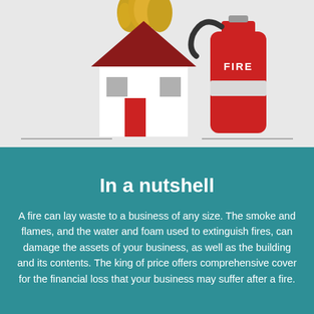[Figure (illustration): Illustration of a house with flames on the roof and a red fire extinguisher beside it, on a light grey background. A horizontal dashed/thin line runs across the bottom of the illustration area.]
In a nutshell
A fire can lay waste to a business of any size. The smoke and flames, and the water and foam used to extinguish fires, can damage the assets of your business, as well as the building and its contents. The king of price offers comprehensive cover for the financial loss that your business may suffer after a fire.